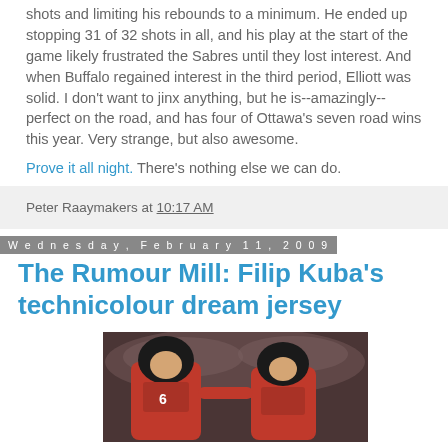shots and limiting his rebounds to a minimum. He ended up stopping 31 of 32 shots in all, and his play at the start of the game likely frustrated the Sabres until they lost interest. And when Buffalo regained interest in the third period, Elliott was solid. I don't want to jinx anything, but he is--amazingly--perfect on the road, and has four of Ottawa's seven road wins this year. Very strange, but also awesome.
Prove it all night. There's nothing else we can do.
Peter Raaymakers at 10:17 AM
Wednesday, February 11, 2009
The Rumour Mill: Filip Kuba's technicolour dream jersey
[Figure (photo): Two hockey players in red Ottawa Senators jerseys facing each other, crowd visible in background]